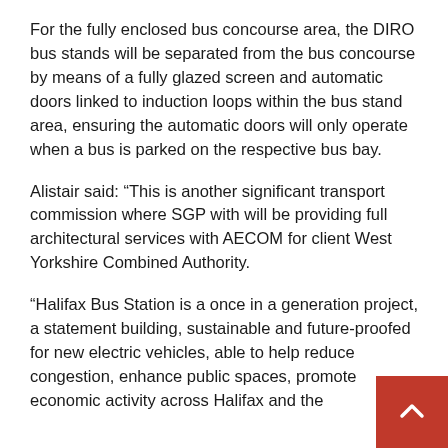For the fully enclosed bus concourse area, the DIRO bus stands will be separated from the bus concourse by means of a fully glazed screen and automatic doors linked to induction loops within the bus stand area, ensuring the automatic doors will only operate when a bus is parked on the respective bus bay.
Alistair said: “This is another significant transport commission where SGP with will be providing full architectural services with AECOM for client West Yorkshire Combined Authority.
“Halifax Bus Station is a once in a generation project, a statement building, sustainable and future-proofed for new electric vehicles, able to help reduce congestion, enhance public spaces, promote economic activity across Halifax and the